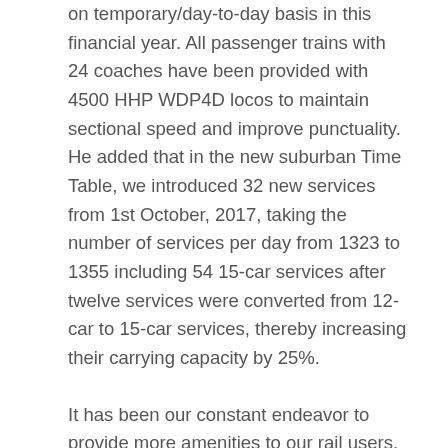on temporary/day-to-day basis in this financial year. All passenger trains with 24 coaches have been provided with 4500 HHP WDP4D locos to maintain sectional speed and improve punctuality. He added that in the new suburban Time Table, we introduced 32 new services from 1st October, 2017, taking the number of services per day from 1323 to 1355 including 54 15-car services after twelve services were converted from 12-car to 15-car services, thereby increasing their carrying capacity by 25%.
It has been our constant endeavor to provide more amenities to our rail users. We have commissioned 17 Lifts and 6 Escalators at various stations this year for the convenience of passengers, especially Divyangs and Senior Citizens. 43 more Escalators will be provided.